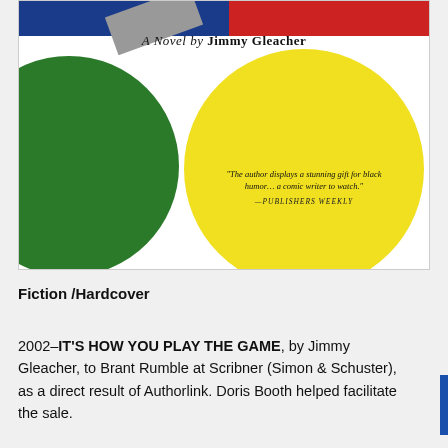[Figure (illustration): Book cover for 'It's How You Play the Game, A Novel by Jimmy Gleacher'. White background with large green circle on the left, large yellow circle on the right with italic quote text: 'The author displays a stunning gift for black humor... a comic writer to watch.' —Publishers Weekly. Blue and red stripes at top, gray/silver object center-top.]
Fiction /Hardcover
2002–IT'S HOW YOU PLAY THE GAME, by Jimmy Gleacher, to Brant Rumble at Scribner (Simon & Schuster), as a direct result of Authorlink. Doris Booth helped facilitate the sale.